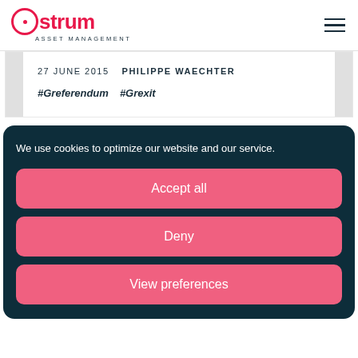Ostrum Asset Management
27 JUNE 2015   PHILIPPE WAECHTER
#Greferendum   #Grexit
We use cookies to optimize our website and our service.
Accept all
Deny
View preferences